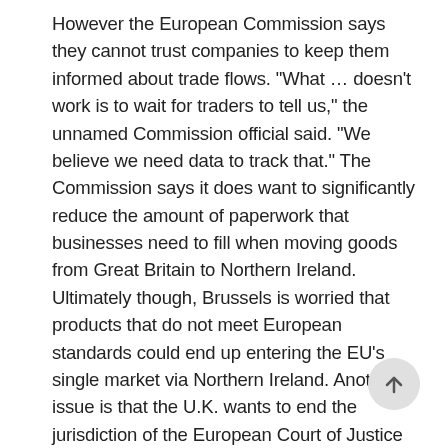However the European Commission says they cannot trust companies to keep them informed about trade flows. "What … doesn't work is to wait for traders to tell us," the unnamed Commission official said. "We believe we need data to track that." The Commission says it does want to significantly reduce the amount of paperwork that businesses need to fill when moving goods from Great Britain to Northern Ireland. Ultimately though, Brussels is worried that products that do not meet European standards could end up entering the EU's single market via Northern Ireland. Another issue is that the U.K. wants to end the jurisdiction of the European Court of Justice over how their trade deal works. But the EU is not budging on this one.
[Figure (other): A circular scroll-to-top button with an upward arrow icon]